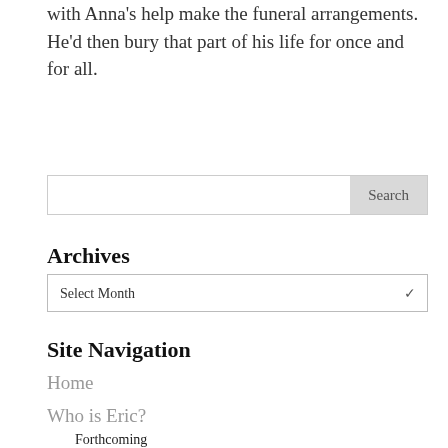with Anna's help make the funeral arrangements. He'd then bury that part of his life for once and for all.
Search
Archives
Select Month
Site Navigation
Home
Who is Eric?
Forthcoming